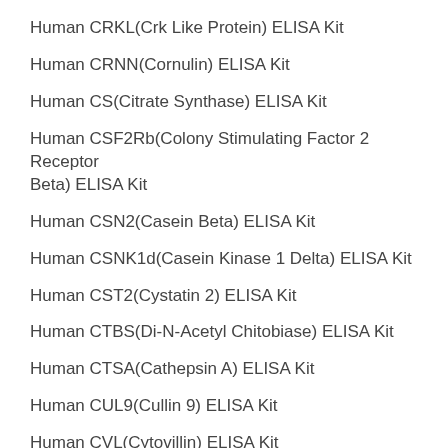Human CRKL(Crk Like Protein) ELISA Kit
Human CRNN(Cornulin) ELISA Kit
Human CS(Citrate Synthase) ELISA Kit
Human CSF2Rb(Colony Stimulating Factor 2 Receptor Beta) ELISA Kit
Human CSN2(Casein Beta) ELISA Kit
Human CSNK1d(Casein Kinase 1 Delta) ELISA Kit
Human CST2(Cystatin 2) ELISA Kit
Human CTBS(Di-N-Acetyl Chitobiase) ELISA Kit
Human CTSA(Cathepsin A) ELISA Kit
Human CUL9(Cullin 9) ELISA Kit
Human CVL(Cytovillin) ELISA Kit
Human CX37(Connexin 37) ELISA Kit